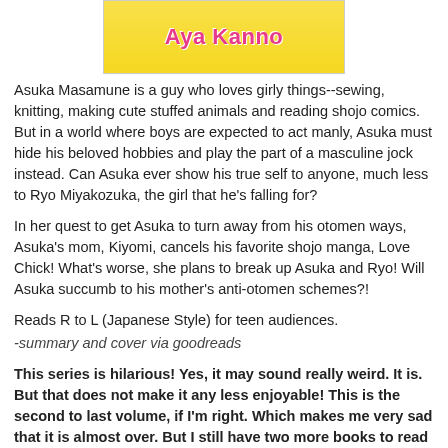[Figure (illustration): Manga book cover showing 'Aya Kanno' text on a yellow background with manga-style illustrations]
Asuka Masamune is a guy who loves girly things--sewing, knitting, making cute stuffed animals and reading shojo comics. But in a world where boys are expected to act manly, Asuka must hide his beloved hobbies and play the part of a masculine jock instead. Can Asuka ever show his true self to anyone, much less to Ryo Miyakozuka, the girl that he's falling for?
In her quest to get Asuka to turn away from his otomen ways, Asuka's mom, Kiyomi, cancels his favorite shojo manga, Love Chick! What's worse, she plans to break up Asuka and Ryo! Will Asuka succumb to his mother's anti-otomen schemes?!
Reads R to L (Japanese Style) for teen audiences.
-summary and cover via goodreads
This series is hilarious! Yes, it may sound really weird. It is. But that does not make it any less enjoyable! This is the second to last volume, if I'm right. Which makes me very sad that it is almost over. But I still have two more books to read before that happens, so I'll deal with it.